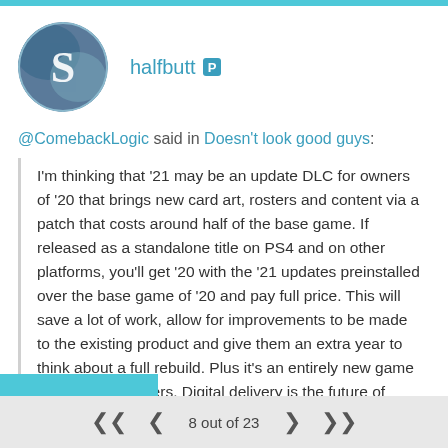[Figure (illustration): User avatar circle with a stylized S letter logo on a blue/grey background]
halfbutt [PlayStation icon]
@ComebackLogic said in Doesn't look good guys:
I'm thinking that '21 may be an update DLC for owners of '20 that brings new card art, rosters and content via a patch that costs around half of the base game. If released as a standalone title on PS4 and on other platforms, you'll get '20 with the '21 updates preinstalled over the base game of '20 and pay full price. This will save a lot of work, allow for improvements to be made to the existing product and give them an extra year to think about a full rebuild. Plus it's an entirely new game for non PS4 owners. Digital delivery is the future of gaming, music and any downloadable product (well, it's the present, but you get my drift), with physical discs and so on rapidly being phased out of existence, so to
8 out of 23